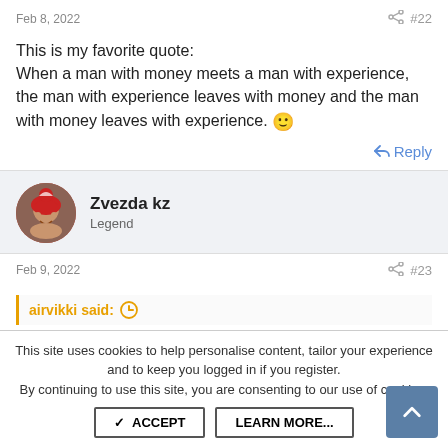Feb 8, 2022  #22
This is my favorite quote:
When a man with money meets a man with experience, the man with experience leaves with money and the man with money leaves with experience. 🙂
↩ Reply
Zvezda kz
Legend
Feb 9, 2022  #23
airvikki said: ⊕
This site uses cookies to help personalise content, tailor your experience and to keep you logged in if you register.
By continuing to use this site, you are consenting to our use of cookies.
✓ ACCEPT   LEARN MORE...